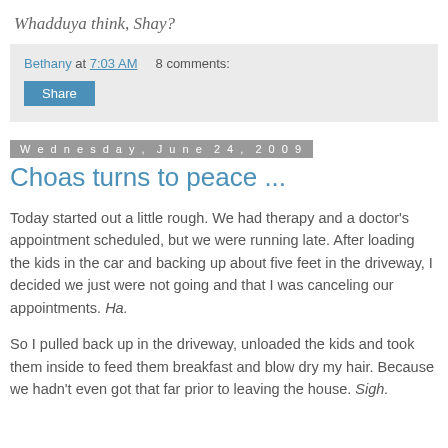Whadduya think, Shay?
Bethany at 7:03 AM    8 comments:
Share
Wednesday, June 24, 2009
Choas turns to peace ...
Today started out a little rough. We had therapy and a doctor's appointment scheduled, but we were running late. After loading the kids in the car and backing up about five feet in the driveway, I decided we just were not going and that I was canceling our appointments. Ha.
So I pulled back up in the driveway, unloaded the kids and took them inside to feed them breakfast and blow dry my hair. Because we hadn't even got that far prior to leaving the house. Sigh.